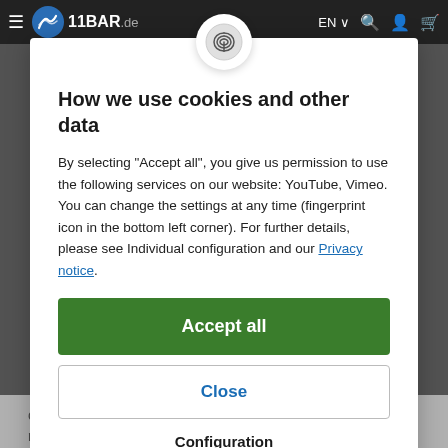11BAR.de — navigation bar with logo, EN language selector, search, account, cart icons
How we use cookies and other data
By selecting "Accept all", you give us permission to use the following services on our website: YouTube, Vimeo. You can change the settings at any time (fingerprint icon in the bottom left corner). For further details, please see Individual configuration and our Privacy notice.
Accept all
Close
Configuration
over additional charges in relation to customs clearance. We recommend that you check with your local customs officials or